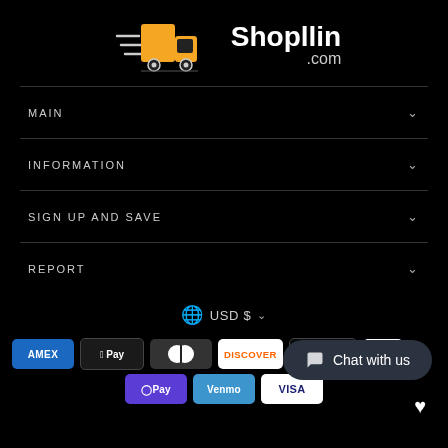[Figure (logo): ShopIlin.com logo with delivery truck icon and motion lines on black background]
MAIN
INFORMATION
SIGN UP AND SAVE
REPORT
USD $ ∨
[Figure (infographic): Payment method icons: American Express, Apple Pay, Diners Club, Discover, Meta Pay, G Pay, O Pay, Venmo, Visa]
Chat with us